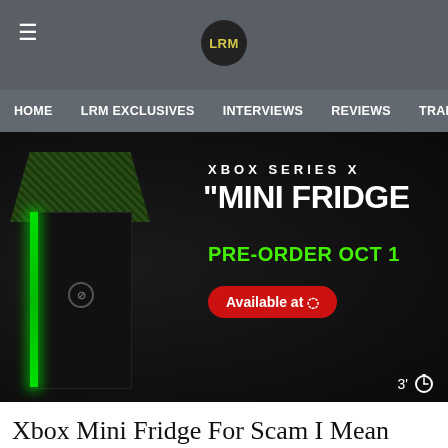LRM — HOME | LRM EXCLUSIVES | INTERVIEWS | REVIEWS | TRAILERS
[Figure (photo): Xbox Series X Mini Fridge promotional image showing the black console-shaped mini fridge with green glowing stripe, text overlay: XBOX SERIES X 'MINI FRIDGE' PRE-ORDER OCT 1 Available at Target, with a 3-minute read timer]
Xbox Mini Fridge For Scam I Mean Sale: